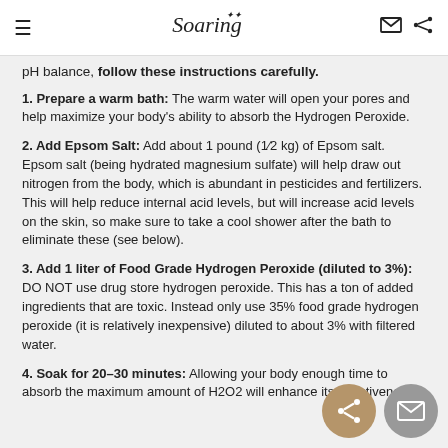≡  Soaring  ✉ share
pH balance, follow these instructions carefully.
1. Prepare a warm bath: The warm water will open your pores and help maximize your body's ability to absorb the Hydrogen Peroxide.
2. Add Epsom Salt: Add about 1 pound (1/2 kg) of Epsom salt. Epsom salt (being hydrated magnesium sulfate) will help draw out nitrogen from the body, which is abundant in pesticides and fertilizers. This will help reduce internal acid levels, but will increase acid levels on the skin, so make sure to take a cool shower after the bath to eliminate these (see below).
3. Add 1 liter of Food Grade Hydrogen Peroxide (diluted to 3%): DO NOT use drug store hydrogen peroxide. This has a ton of added ingredients that are toxic. Instead only use 35% food grade hydrogen peroxide (it is relatively inexpensive) diluted to about 3% with filtered water.
4. Soak for 20–30 minutes: Allowing your body enough time to absorb the maximum amount of H2O2 will enhance its effectiveness.